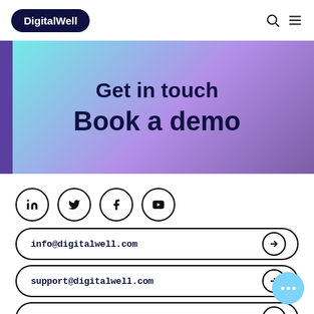DigitalWell
Get in touch
Book a demo
[Figure (infographic): Social media icons in circles: LinkedIn, Twitter/X, Facebook, YouTube]
info@digitalwell.com
support@digitalwell.com
+353 1 254 1800